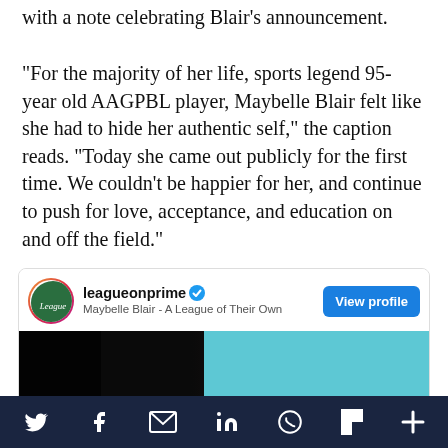with a note celebrating Blair’s announcement.
“For the majority of her life, sports legend 95-year old AAGPBL player, Maybelle Blair felt like she had to hide her authentic self,” the caption reads. “Today she came out publicly for the first time. We couldn’t be happier for her, and continue to push for love, acceptance, and education on and off the field.”
[Figure (screenshot): Embedded social media card showing leagueonprime Instagram/social account with verified badge, subtitle 'Maybelle Blair - A League of Their Own', View profile button, and video thumbnail with 'A LEAGUE OF THEIR OWN' text on teal background.]
Twitter | Facebook | Mail | LinkedIn | WhatsApp | Flipboard | More